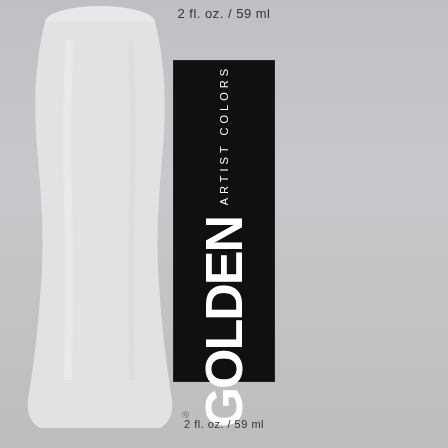[Figure (photo): Close-up photograph of a Golden Artist Colors acrylic paint tube (white paint), 2 fl. oz. / 59 ml size. The tube has a black rectangular label with 'ARTIST COLORS' written vertically in white small caps and 'GOLDEN' in large bold white letters also written vertically. The size '2 fl. oz. / 59 ml' appears at both the top and bottom of the tube.]